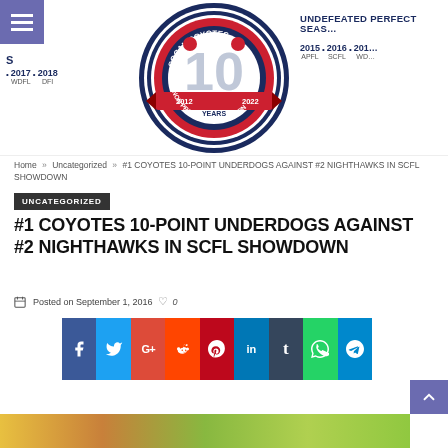[Figure (logo): SoCal Coyotes 10-year anniversary logo (2012-2022), circular badge with red, white, and navy colors]
UNDEFEATED PERFECT SEAS…
2015 APFL • 2016 SCFL • 201… WD…
S
• 2017 WDFL • 2018 DFI
Home » Uncategorized » #1 COYOTES 10-POINT UNDERDOGS AGAINST #2 NIGHTHAWKS IN SCFL SHOWDOWN
UNCATEGORIZED
#1 COYOTES 10-POINT UNDERDOGS AGAINST #2 NIGHTHAWKS IN SCFL SHOWDOWN
Posted on September 1, 2016  ♡ 0
[Figure (infographic): Social media sharing buttons: Facebook, Twitter, Google+, Reddit, Pinterest, LinkedIn, Tumblr, WhatsApp, Telegram]
[Figure (photo): Partial photo visible at bottom of page with green and yellow colors]